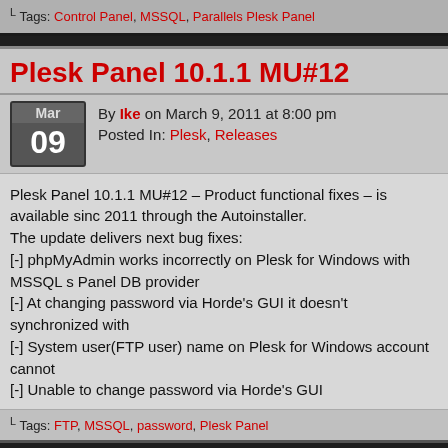Tags: Control Panel, MSSQL, Parallels Plesk Panel
Plesk Panel 10.1.1 MU#12
By Ike on March 9, 2011 at 8:00 pm
Posted In: Plesk, Releases
Plesk Panel 10.1.1 MU#12 – Product functional fixes – is available since 2011 through the Autoinstaller.
The update delivers next bug fixes:
[-] phpMyAdmin works incorrectly on Plesk for Windows with MSSQL set as Panel DB provider
[-] At changing password via Horde's GUI it doesn't synchronized with
[-] System user(FTP user) name on Plesk for Windows account cannot
[-] Unable to change password via Horde's GUI
Tags: FTP, MSSQL, password, Plesk Panel
GOOGLE   YAHOO
52 queries. 8.75 mb Memory usage. 0.821 seconds.